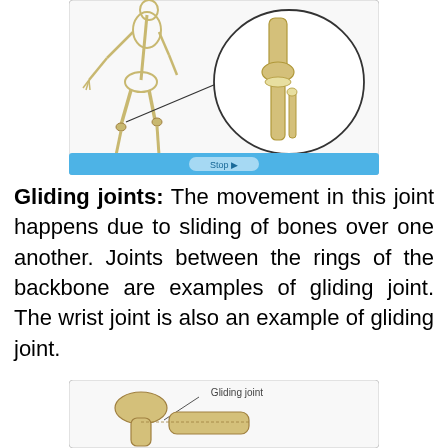[Figure (illustration): Illustration of a human skeleton running with a zoomed-in circle highlighting the knee joint area, showing bones articulating. Below the illustration is a blue bar with a 'Stop' button.]
Gliding joints: The movement in this joint happens due to sliding of bones over one another. Joints between the rings of the backbone are examples of gliding joint. The wrist joint is also an example of gliding joint.
[Figure (illustration): Illustration of a gliding joint showing two bone ends with a label 'Gliding joint' and an arrow pointing to the joint area.]